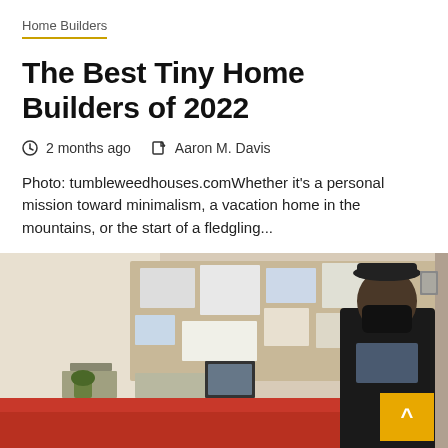Home Builders
The Best Tiny Home Builders of 2022
2 months ago   Aaron M. Davis
Photo: tumbleweedhouses.comWhether it's a personal mission toward minimalism, a vacation home in the mountains, or the start of a fledgling...
[Figure (photo): A person wearing a black mask and dark clothing standing in front of a bulletin board with papers and framed photos on a desk.]